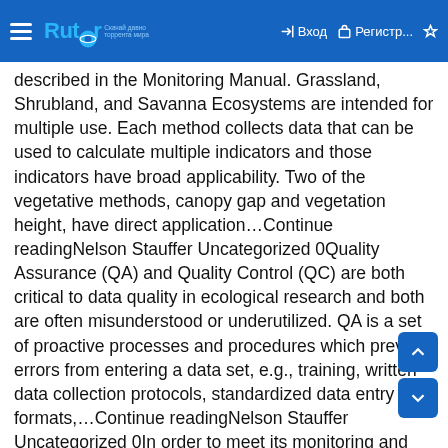Rutor — Вход — Регистр...
described in the Monitoring Manual. Grassland, Shrubland, and Savanna Ecosystems are intended for multiple use. Each method collects data that can be used to calculate multiple indicators and those indicators have broad applicability. Two of the vegetative methods, canopy gap and vegetation height, have direct application…Continue readingNelson Stauffer Uncategorized 0Quality Assurance (QA) and Quality Control (QC) are both critical to data quality in ecological research and both are often misunderstood or underutilized. QA is a set of proactive processes and procedures which prevent errors from entering a data set, e.g., training, written data collection protocols, standardized data entry formats,…Continue readingNelson Stauffer Uncategorized 0In order to meet its monitoring and information needs, the Bureau of Land Management is making use of its Assessment, Inventory, and Monitoring strategy (AIM). While taking advantage of the tools and approaches available on the Landscape Toolbox, there are additional implementation requirements concerning the particulars of sample design, data…Continue readingNelson Stauffer Methods Guide, Monitoring Manual, Training 0We've